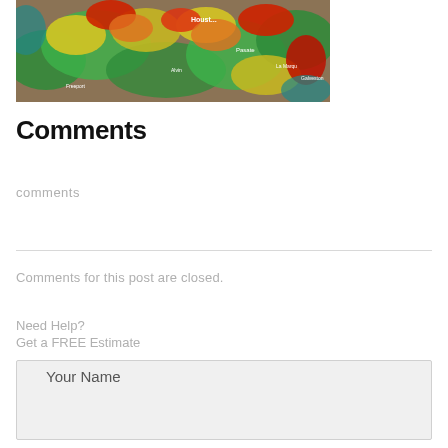[Figure (map): Satellite/radar weather map showing Houston area with green, yellow, red color-coded weather data overlaid on map]
Comments
comments
Comments for this post are closed.
Need Help?
Get a FREE Estimate
Your Name